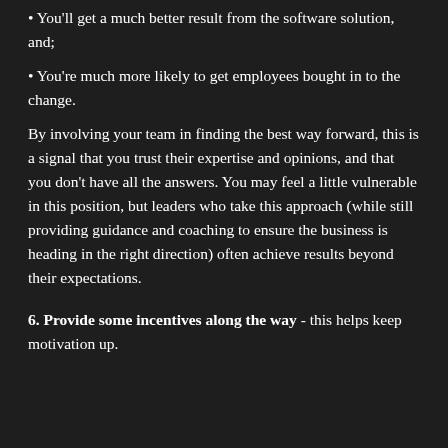• You'll get a much better result from the software solution, and;
• You're much more likely to get employees bought in to the change.
By involving your team in finding the best way forward, this is a signal that you trust their expertise and opinions, and that you don't have all the answers. You may feel a little vulnerable in this position, but leaders who take this approach (while still providing guidance and coaching to ensure the business is heading in the right direction) often achieve results beyond their expectations.
6. Provide some incentives along the way - this helps keep motivation up.